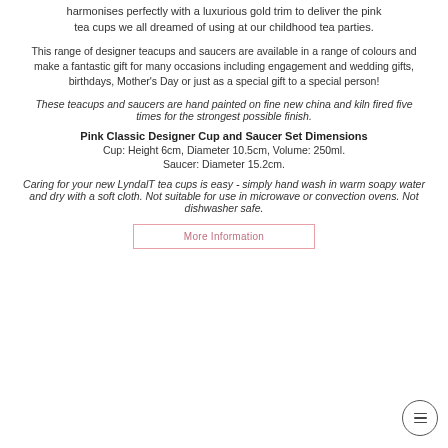harmonises perfectly with a luxurious gold trim to deliver the pink tea cups we all dreamed of using at our childhood tea parties.
This range of designer teacups and saucers are available in a range of colours and make a fantastic gift for many occasions including engagement and wedding gifts, birthdays, Mother's Day or just as a special gift to a special person!
These teacups and saucers are hand painted on fine new china and kiln fired five times for the strongest possible finish.
Pink Classic Designer Cup and Saucer Set Dimensions
Cup: Height 6cm, Diameter 10.5cm, Volume: 250ml.
Saucer: Diameter 15.2cm.
Caring for your new LyndalT tea cups is easy - simply hand wash in warm soapy water and dry with a soft cloth. Not suitable for use in microwave or convection ovens. Not dishwasher safe.
More Information